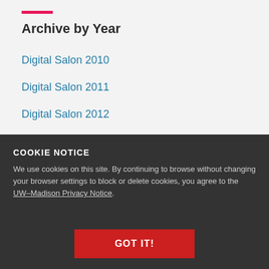Archive by Year
Digital Salon 2010
Digital Salon 2011
Digital Salon 2012
Digital Salon 2013
Digital Salon 2014
Digital Salon 2015
COOKIE NOTICE
We use cookies on this site. By continuing to browse without changing your browser settings to block or delete cookies, you agree to the UW–Madison Privacy Notice.